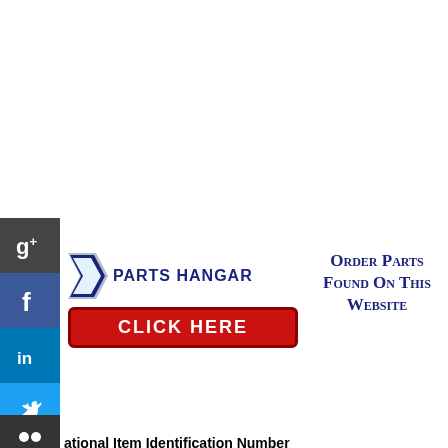[Figure (logo): Parts Hangar logo with chevron/arrow graphic and CLICK HERE red button, alongside social media icons (Google+, Facebook, LinkedIn, Twitter, Pinterest, StumbleUpon) on the left side]
Order Parts Found On This Website
National Item Identification Number
12-344-5320
123445320
5305-12-344-5320